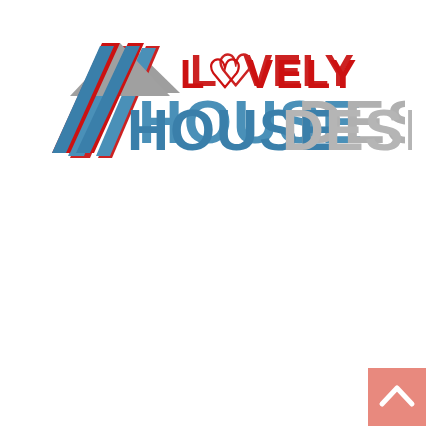[Figure (logo): Lovely House Designs logo: a house roof icon with red diagonal stripes and grey triangle, with 'LOVELY' in red and 'HOUSE' in steel blue and 'DESIGNS' in grey, all bold uppercase text]
[Figure (other): Small salmon/pink square button with a white upward-pointing chevron arrow, used as a scroll-to-top button]